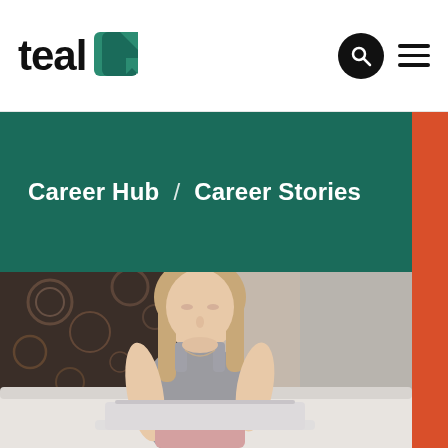teal [logo]
Career Hub  /  Career Stories
[Figure (photo): Young woman with blonde hair sitting on a bed, looking down at an open laptop on her lap, wearing a grey tank top and pink pants. Dark decorative patterned pillow visible in background.]